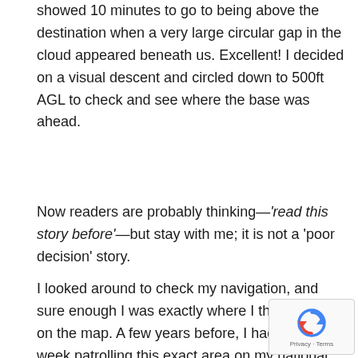showed 10 minutes to go to being above the destination when a very large circular gap in the cloud appeared beneath us. Excellent! I decided on a visual descent and circled down to 500ft AGL to check and see where the base was ahead.
Now readers are probably thinking—'read this story before'—but stay with me; it is not a 'poor decision' story.
I looked around to check my navigation, and sure enough I was exactly where I thought I was on the map. A few years before, I had spent a week patrolling this exact area on my national service in the Rhodesian Army during the 'Rhodesian Bush War', and I could see various familiar landmarks, including places we had camped at for many days.
I then looked at the altitude depicted on the map, and